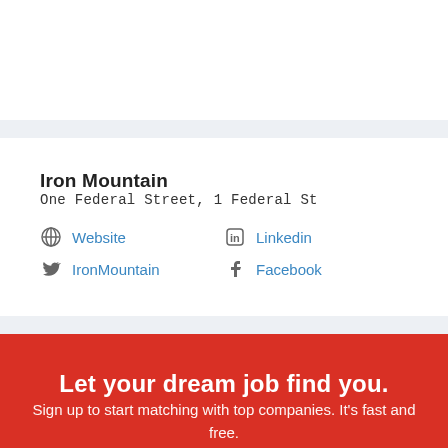Iron Mountain
One Federal Street, 1 Federal St
Website
Linkedin
IronMountain
Facebook
Let your dream job find you.
Sign up to start matching with top companies. It's fast and free.